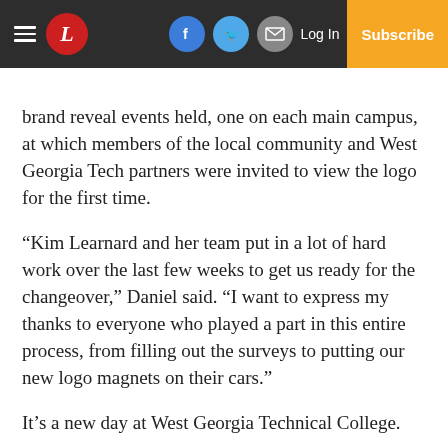L [newspaper logo] | Facebook | Twitter | Email | Log In | Subscribe
brand reveal events held, one on each main campus, at which members of the local community and West Georgia Tech partners were invited to view the logo for the first time.
“Kim Learnard and her team put in a lot of hard work over the last few weeks to get us ready for the changeover,” Daniel said. “I want to express my thanks to everyone who played a part in this entire process, from filling out the surveys to putting our new logo magnets on their cars.”
It’s a new day at West Georgia Technical College.